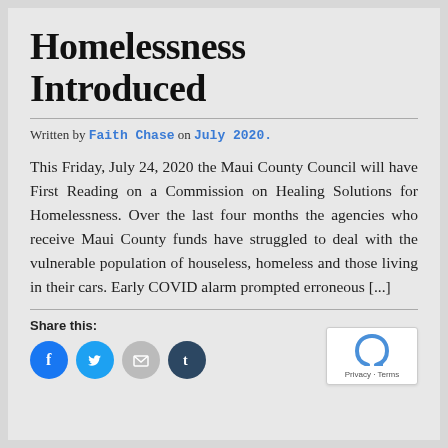Homelessness Introduced
Written by Faith Chase on July 2020.
This Friday, July 24, 2020 the Maui County Council will have First Reading on a Commission on Healing Solutions for Homelessness. Over the last four months the agencies who receive Maui County funds have struggled to deal with the vulnerable population of houseless, homeless and those living in their cars. Early COVID alarm prompted erroneous [...]
Share this: